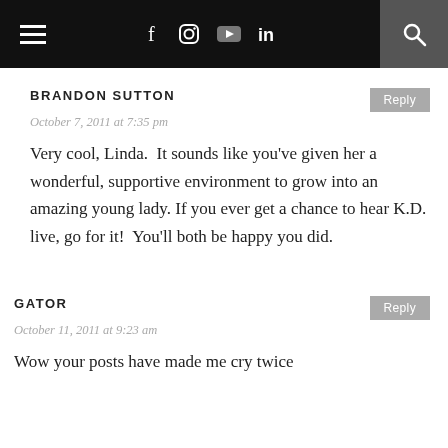Navigation bar with hamburger menu, social icons (f, Instagram, YouTube, LinkedIn), and search
BRANDON SUTTON
October 7, 2011 at 7:35 pm
Very cool, Linda.  It sounds like you've given her a wonderful, supportive environment to grow into an amazing young lady. If you ever get a chance to hear K.D. live, go for it!  You'll both be happy you did.
GATOR
October 11, 2011 at 9:23 am
Wow your posts have made me cry twice